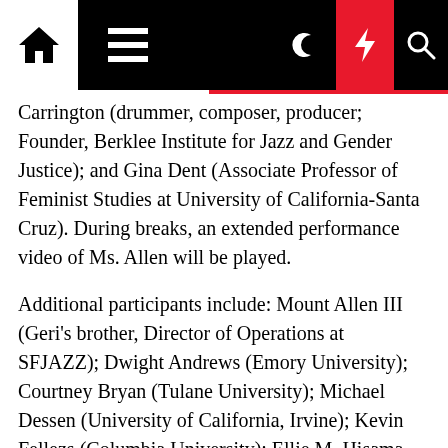Navigation bar with home, menu, dark mode, bolt, and search icons
Carrington (drummer, composer, producer; Founder, Berklee Institute for Jazz and Gender Justice); and Gina Dent (Associate Professor of Feminist Studies at University of California-Santa Cruz). During breaks, an extended performance video of Ms. Allen will be played.
Additional participants include: Mount Allen III (Geri's brother, Director of Operations at SFJAZZ); Dwight Andrews (Emory University); Courtney Bryan (Tulane University); Michael Dessen (University of California, Irvine); Kevin Fellezs (Columbia University); Ellie M. Hisama (Columbia University); Vijay Iyer (Harvard University); Aaron J. Johnson (University of Pittsburgh); Veronica Johnson (Detroit Metro Times, JazzTimes); Tammy Kernodle (Miami University); George E. Lewis (Columbia University); Nicole Mitchell (cont.) (University of Pittsburgh); Fred...